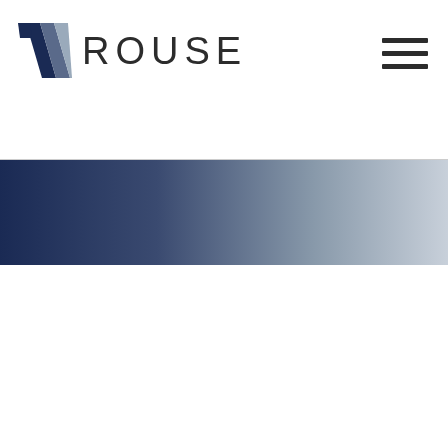[Figure (logo): Rouse logo with stylized R/W geometric mark in dark navy and grey, followed by ROUSE text in dark grey sans-serif]
[Figure (other): Hamburger menu icon with three horizontal dark lines in top right corner]
[Figure (other): Horizontal gradient banner spanning full width, transitioning from dark navy blue on the left to light grey on the right]